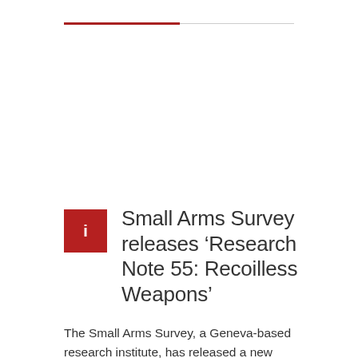Small Arms Survey releases ‘Research Note 55: Recoilless Weapons’
The Small Arms Survey, a Geneva-based research institute, has released a new publication authored by ARES Director N.R.